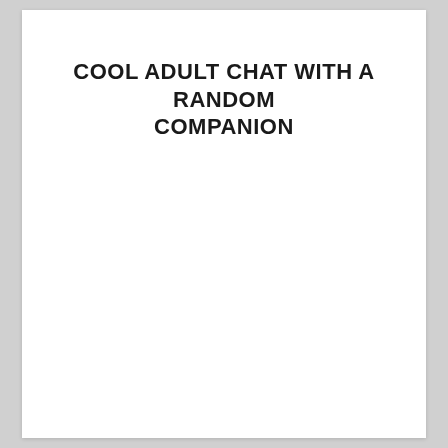COOL ADULT CHAT WITH A RANDOM COMPANION